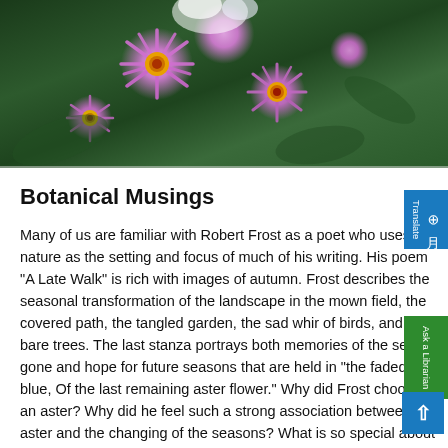[Figure (photo): Close-up photograph of purple aster flowers with yellow and reddish-brown centers against a green leafy background]
Botanical Musings
Many of us are familiar with Robert Frost as a poet who uses nature as the setting and focus of much of his writing. His poem “A Late Walk” is rich with images of autumn. Frost describes the seasonal transformation of the landscape in the mown field, the covered path, the tangled garden, the sad whir of birds, and the bare trees. The last stanza portrays both memories of the season gone and hope for future seasons that are held in “the faded blue, Of the last remaining aster flower.” Why did Frost choose an aster? Why did he feel such a strong association between the aster and the changing of the seasons? What is so special about this little blue flower?